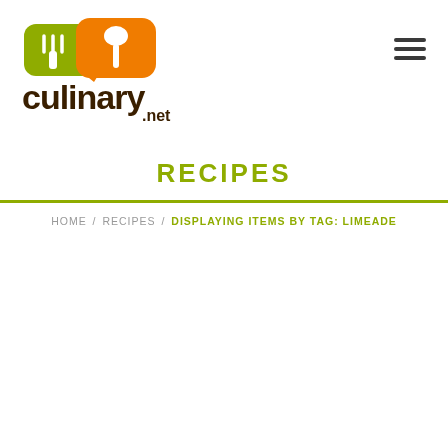[Figure (logo): culinary.net logo with green fork speech bubble and orange spoon speech bubble above the word 'culinary' in dark brown bold font with '.net' underneath]
[Figure (other): Hamburger menu icon (three horizontal dark lines)]
RECIPES
HOME / RECIPES / DISPLAYING ITEMS BY TAG: LIMEADE